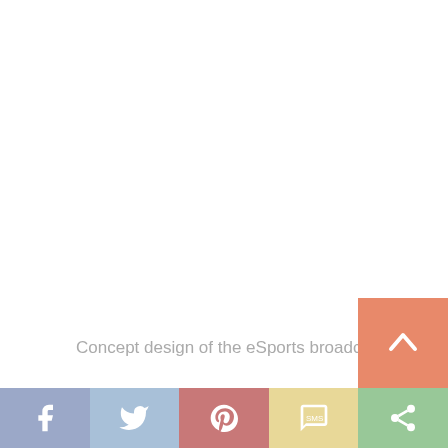Concept design of the eSports broadcast studio
The Konami Group will strive to contribute to the further growth of esports, starting with this complex that will bring together individuals, companies and knowledge from across the industry under one roof.
[Figure (other): Loading spinner circle, partially orange and partially light gray, overlaid on the text area]
The “Esports GINZA Studio” is a distribution studio that will be fully equipped with devices and technology best suited for esports. The studio will serve as a featu
[Figure (other): Scroll-to-top button, orange background with white upward chevron arrow]
Social sharing bar with Facebook, Twitter, Pinterest, SMS, and Share buttons